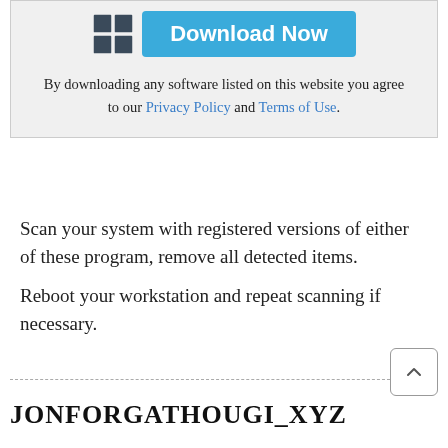[Figure (other): Download Now button with Windows logo]
By downloading any software listed on this website you agree to our Privacy Policy and Terms of Use.
Scan your system with registered versions of either of these program, remove all detected items.
Reboot your workstation and repeat scanning if necessary.
JONFORGATHOUGI_XYZ